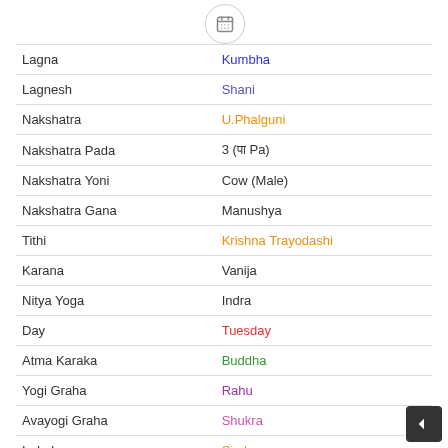[Figure (illustration): Calendar icon in a circle]
| Lagna | Kumbha |
| Lagnesh | Shani |
| Nakshatra | U.Phalguni |
| Nakshatra Pada | 3 (पा Pa) |
| Nakshatra Yoni | Cow (Male) |
| Nakshatra Gana | Manushya |
| Tithi | Krishna Trayodashi |
| Karana | Vanija |
| Nitya Yoga | Indra |
| Day | Tuesday |
| Atma Karaka | Buddha |
| Yogi Graha | Rahu |
| Avayogi Graha | Shukra |
| Indu Lagna | Simha |